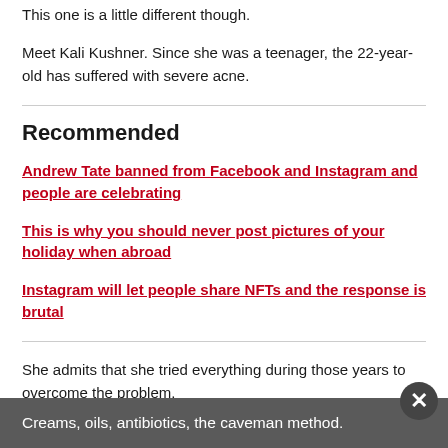This one is a little different though.
Meet Kali Kushner. Since she was a teenager, the 22-year-old has suffered with severe acne.
Recommended
Andrew Tate banned from Facebook and Instagram and people are celebrating
This is why you should never post pictures of your holiday when abroad
Instagram will let people share NFTs and the response is brutal
She admits that she tried everything during those years to overcome the problem.
Creams, oils, antibiotics, the caveman method.